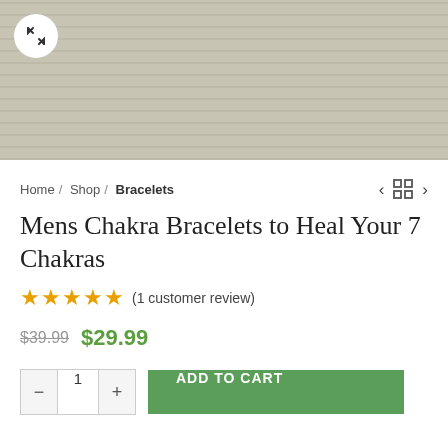[Figure (photo): Product image showing a light beige/gray textured fabric or bracelet with an expand/zoom button in the top-left corner]
Home / Shop / Bracelets
Mens Chakra Bracelets to Heal Your 7 Chakras
★★★★★ (1 customer review)
$39.99  $29.99
ADD TO CART